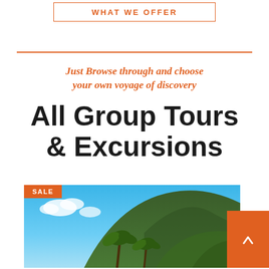WHAT WE OFFER
Just Browse through and choose your own voyage of discovery
All Group Tours & Excursions
[Figure (photo): Tropical mountain landscape with palm trees and blue sky, with SALE badge overlay and orange arrow button]